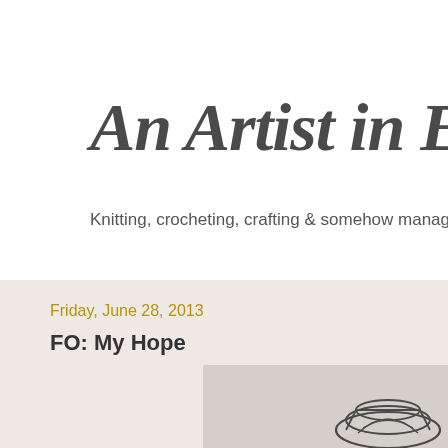An Artist in Engin
Knitting, crocheting, crafting & somehow managing to l
Friday, June 28, 2013
FO: My Hope
[Figure (illustration): Partial view of a knitted or crocheted object, wireframe-like illustration in dark color]